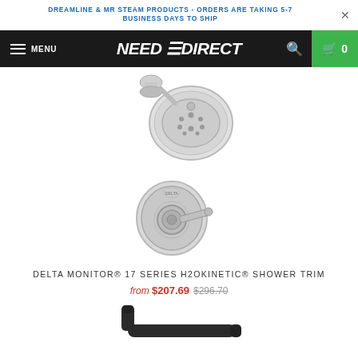DREAMLINE & MR STEAM PRODUCTS - ORDERS ARE TAKING 5-7 BUSINESS DAYS TO SHIP
[Figure (screenshot): Need Direct website navigation bar with hamburger menu, logo, search icon, and green cart button showing 0 items]
[Figure (photo): Chrome oval showerhead with multiple spray holes, viewed from front at slight angle, with decorative arm connector]
[Figure (photo): Chrome round shower valve trim with lever handle, Delta brand, decorative escutcheon plate]
DELTA MONITOR® 17 SERIES H2OKINETIC® SHOWER TRIM
from $207.69 $296.70
[Figure (photo): Matte black L-shaped grab bar or towel bar, partially visible at bottom of page]